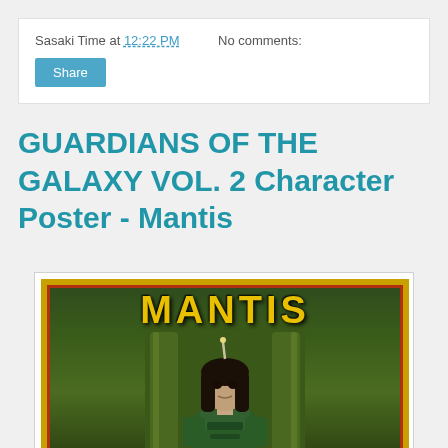Sasaki Time at 12:22 PM   No comments:
Share
GUARDIANS OF THE GALAXY VOL. 2 Character Poster - Mantis
[Figure (photo): Mantis character movie poster from Guardians of the Galaxy Vol. 2, showing a woman with antenna in green costume against a green ornate background with 'MANTIS' text in yellow at the top, framed with a gold and red border.]